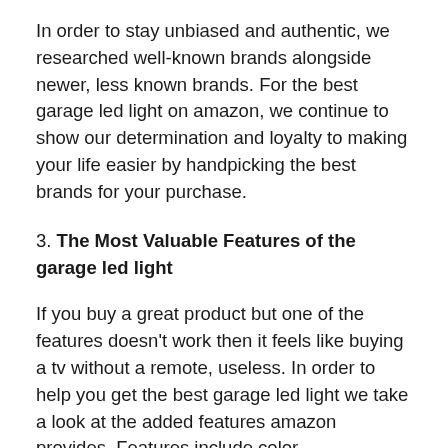In order to stay unbiased and authentic, we researched well-known brands alongside newer, less known brands. For the best garage led light on amazon, we continue to show our determination and loyalty to making your life easier by handpicking the best brands for your purchase.
3. The Most Valuable Features of the garage led light
If you buy a great product but one of the features doesn't work then it feels like buying a tv without a remote, useless. In order to help you get the best garage led light we take a look at the added features amazon provides. Features include color, weight, durability, and more.